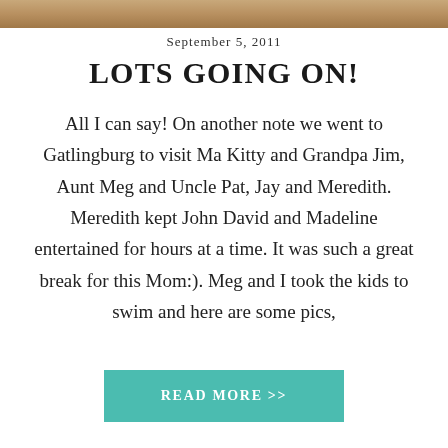[Figure (photo): Partial photo strip at top of page, showing an outdoor scene]
September 5, 2011
LOTS GOING ON!
All I can say! On another note we went to Gatlingburg to visit Ma Kitty and Grandpa Jim, Aunt Meg and Uncle Pat, Jay and Meredith. Meredith kept John David and Madeline entertained for hours at a time. It was such a great break for this Mom:). Meg and I took the kids to swim and here are some pics,
READ MORE >>